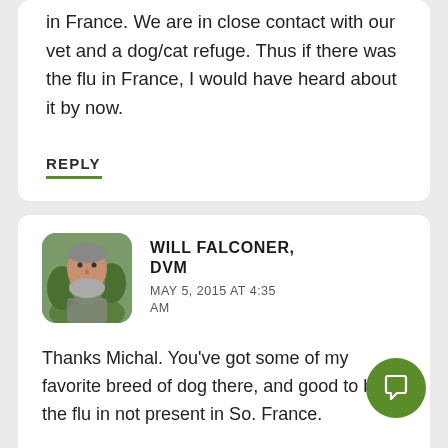in France. We are in close contact with our vet and a dog/cat refuge. Thus if there was the flu in France, I would have heard about it by now.
REPLY
WILL FALCONER, DVM
MAY 5, 2015 AT 4:35 AM
Thanks Michal. You've got some of my favorite breed of dog there, and good to hear the flu in not present in So. France.
REPLY